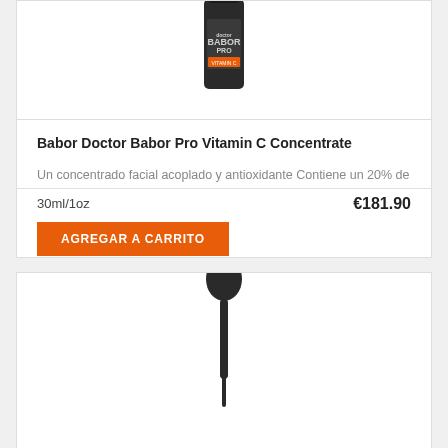[Figure (photo): Dark bottle of Babor Doctor Babor Pro Vitamin C Concentrate product, partially visible at top of card]
Babor Doctor Babor Pro Vitamin C Concentrate
Un concentrado facial acoplado y antioxidante Contiene un 20% de vitamina C estable para ofrecer...
30ml/1oz
€181.90
AGREGAR A CARRITO
[Figure (photo): Dropper bottle top partially visible at bottom of page, second product card beginning]